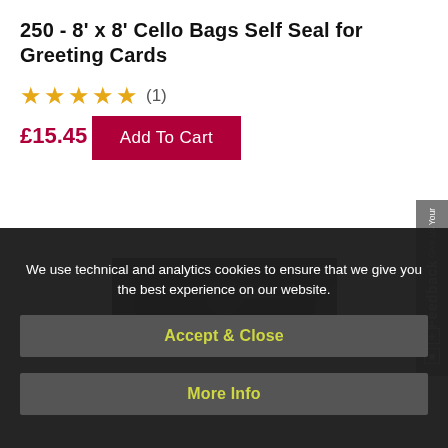250 - 8' x 8' Cello Bags Self Seal for Greeting Cards
★★★★★ (1)
£15.45
Add To Cart
[Figure (screenshot): Partial product image of cello bags on dark background with close (x) button]
We use technical and analytics cookies to ensure that we give you the best experience on our website.
Accept & Close
More Info